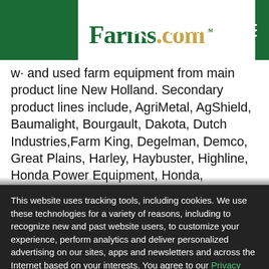Farms.com — SIGN IN — menu
w and used farm equipment from main product line New Holland. Secondary product lines include, AgriMetal, AgShield, Baumalight, Bourgault, Dakota, Dutch Industries, Farm King, Degelman, Demco, Great Plains, Harley, Haybuster, Highline, Honda Power Equipment, Honda, HoneyBee, Husqvarna, HyGrade, K-Tec, Kello-Bilt, Kirchner, Klym-Air,
This website uses tracking tools, including cookies. We use these technologies for a variety of reasons, including to recognize new and past website users, to customize your experience, perform analytics and deliver personalized advertising on our sites, apps and newsletters and across the Internet based on your interests. You agree to our Privacy Policy and Terms of Access by clicking I agree.